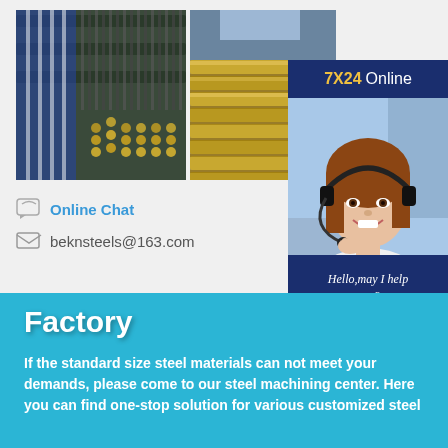[Figure (photo): Two photos side by side: left shows bundled dark steel pipes/tubes stacked together with blue wrapping; right shows bundled gold/yellow colored steel tubes.]
[Figure (infographic): 7X24 Online chat widget showing a customer service agent wearing a headset, smiling. Contains header '7X24 Online', agent photo, greeting text 'Hello, may I help you?' and a 'Get Latest Price' button.]
Online Chat
beknsteels@163.com
Factory
If the standard size steel materials can not meet your demands, please come to our steel machining center. Here you can find one-stop solution for various customized steel